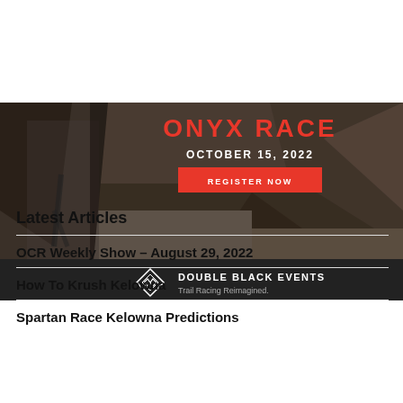[Figure (photo): Banner image showing a trail runner on rocky terrain with 'ONYX RACE' title in red, 'OCTOBER 15, 2022' date in white, and a red 'REGISTER NOW' button. Double Black Events logo bar at bottom with tagline 'Trail Racing Reimagined.']
Latest Articles
OCR Weekly Show – August 29, 2022
How To Krush Kelowna
Spartan Race Kelowna Predictions